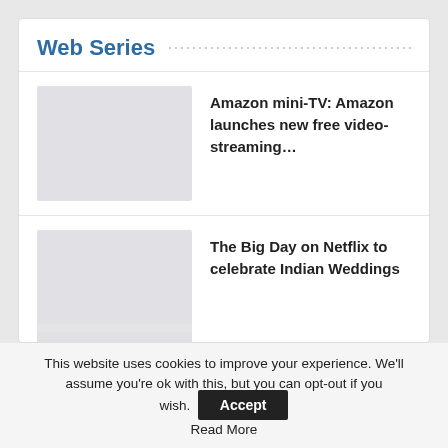Web Series
Amazon mini-TV: Amazon launches new free video-streaming…
The Big Day on Netflix to celebrate Indian Weddings
Mohit Duseja overwhelmed with emotions as he collaborates…
This website uses cookies to improve your experience. We'll assume you're ok with this, but you can opt-out if you wish. Accept Read More